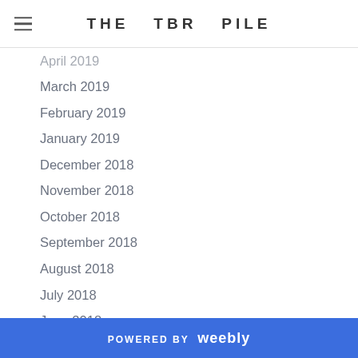THE TBR PILE
April 2019
March 2019
February 2019
January 2019
December 2018
November 2018
October 2018
September 2018
August 2018
July 2018
June 2018
May 2018
April 2018
March 2018
February 2018
January 2018
December 2017
November 2017
POWERED BY weebly